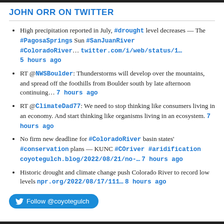JOHN ORR ON TWITTER
High precipitation reported in July, #drought level decreases — The #PagosaSprings Sun #SanJuanRiver #ColoradoRiver… twitter.com/i/web/status/1… 5 hours ago
RT @NWSBoulder: Thunderstorms will develop over the mountains, and spread off the foothills from Boulder south by late afternoon continuing… 7 hours ago
RT @ClimateDad77: We need to stop thinking like consumers living in an economy. And start thinking like organisms living in an ecosystem. 7 hours ago
No firm new deadline for #ColoradoRiver basin states' #conservation plans — KUNC #COriver #aridification coyotegulch.blog/2022/08/21/no-… 7 hours ago
Historic drought and climate change push Colorado River to record low levels npr.org/2022/08/17/111… 8 hours ago
Follow @coyotegulch